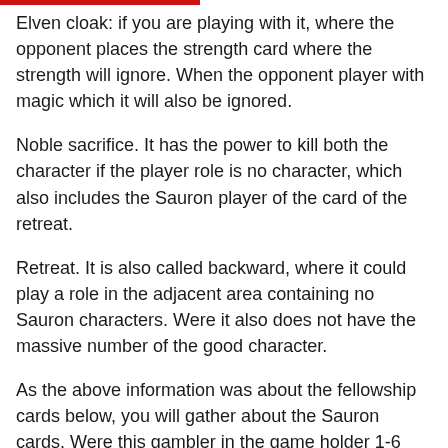Elven cloak: if you are playing with it, where the opponent places the strength card where the strength will ignore. When the opponent player with magic which it will also be ignored.
Noble sacrifice. It has the power to kill both the character if the player role is no character, which also includes the Sauron player of the card of the retreat.
Retreat. It is also called backward, where it could play a role in the adjacent area containing no Sauron characters. Were it also does not have the massive number of the good character.
As the above information was about the fellowship cards below, you will gather about the Sauron cards. Were this gambler in the game holder 1-6 serious numbers with three words cards.